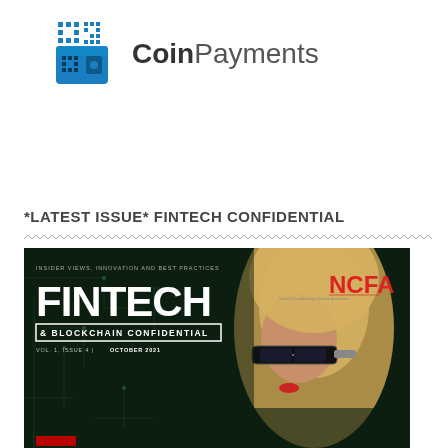[Figure (logo): CoinPayments logo — blue pixelated wallet icon with QR code pattern, followed by the text CoinPayments in dark grey]
*LATEST ISSUE* FINTECH CONFIDENTIAL
[Figure (photo): Magazine cover of Fintech & Blockchain Confidential, Vol. 1 Issue 4, October 2021. Dark circuit-board background, large FINTECH title, NCFA logo in red/blue, woman wearing AR/VR glasses with blonde hair on the right side.]